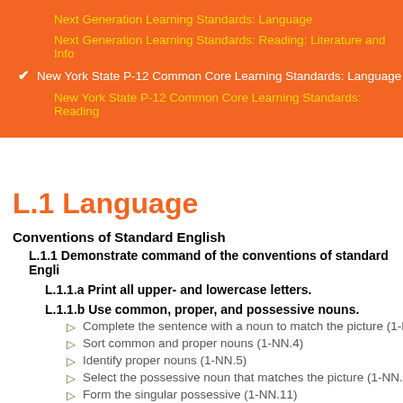Next Generation Learning Standards: Language
Next Generation Learning Standards: Reading: Literature and Info
New York State P-12 Common Core Learning Standards: Language
New York State P-12 Common Core Learning Standards: Reading
L.1 Language
Conventions of Standard English
L.1.1 Demonstrate command of the conventions of standard English
L.1.1.a Print all upper- and lowercase letters.
L.1.1.b Use common, proper, and possessive nouns.
Complete the sentence with a noun to match the picture (1-B
Sort common and proper nouns (1-NN.4)
Identify proper nouns (1-NN.5)
Select the possessive noun that matches the picture (1-NN.1
Form the singular possessive (1-NN.11)